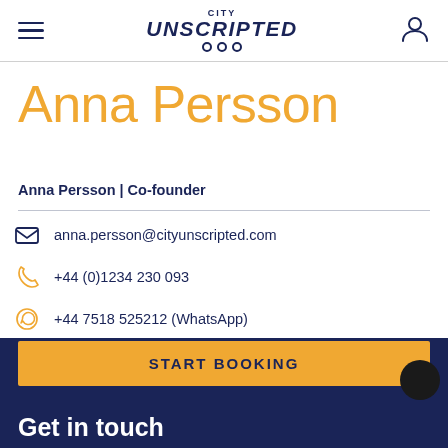City Unscripted — navigation header with hamburger menu and user icon
Anna Persson
Anna Persson | Co-founder
anna.persson@cityunscripted.com
+44 (0)1234 230 093
+44 7518 525212 (WhatsApp)
Let's chat!
START BOOKING
Get in touch